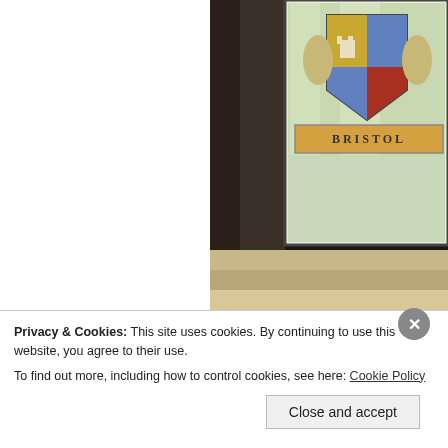[Figure (photo): Stained glass window showing Bristol coat of arms with shield and banner reading 'BRISTOL', framed in dark wood. Formerly Dunn & Co, Ilford location.]
Formerly Dunn & Co, Ilford (photo: 20...
As Dunn grew prosperous on 3s. 9d. hats, he moved his family to 'The Aubrey's', Redbourne, Hertfordshire. The Dunns were stri... pride of place on the menu for Ellis Randolph's coming-of-age p...
Privacy & Cookies: This site uses cookies. By continuing to use this website, you agree to their use.
To find out more, including how to control cookies, see here: Cookie Policy
Close and accept